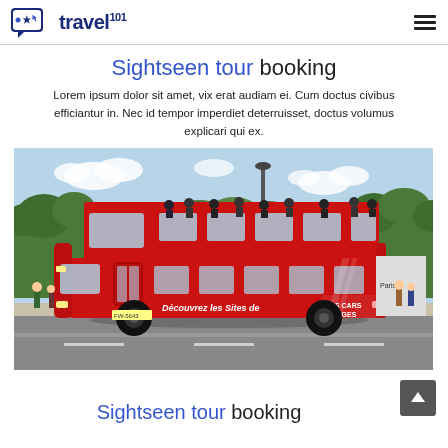travel 101
Sightseen tour booking
Lorem ipsum dolor sit amet, vix erat audiam ei. Cum doctus civibus efficiantur in. Nec id tempor imperdiet deterruisset, doctus volumus explicari qui ex.
[Figure (photo): A red double-decker open-top sightseeing bus (Les Cars Rouges) on a city street in Paris, with tourists on the upper deck and text 'Découvrez les Sites de Paris avec LES CARS ROUGES' on the side.]
Sightseen tour booking